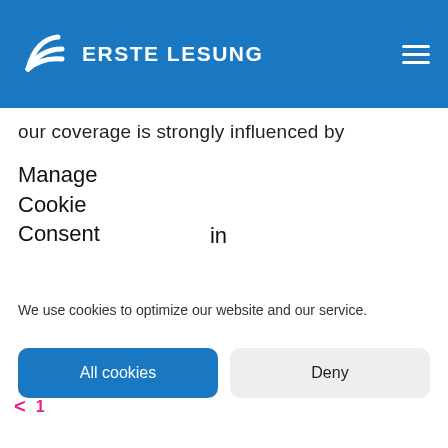ERSTE LESUNG
our coverage is strongly influenced by
Manage
Cookie
Consent

in
We use cookies to optimize our website and our service.
All cookies
Deny
< 1